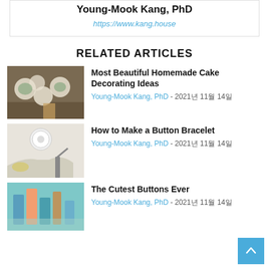Young-Mook Kang, PhD
https://www.kang.house
RELATED ARTICLES
[Figure (photo): Overhead view of homemade decorated cookies/cakes on a wooden table with plants]
Most Beautiful Homemade Cake Decorating Ideas
Young-Mook Kang, PhD - 2021년 11월 14일
[Figure (photo): Craft supplies including ribbon spool, scissors, lemon and herbs on a white surface]
How to Make a Button Bracelet
Young-Mook Kang, PhD - 2021년 11월 14일
[Figure (photo): Colorful craft supplies and candles]
The Cutest Buttons Ever
Young-Mook Kang, PhD - 2021년 11월 14일